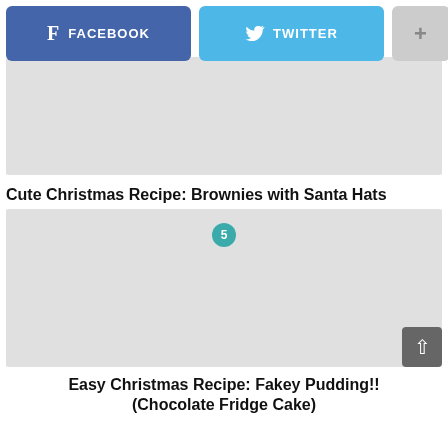[Figure (screenshot): Social share bar with Facebook (blue), Twitter (cyan), and plus (grey) buttons]
[Figure (photo): Placeholder image area for Brownies with Santa Hats recipe article]
Cute Christmas Recipe: Brownies with Santa Hats
[Figure (photo): Placeholder image area for Fakey Pudding recipe article with teal badge showing number 5]
Easy Christmas Recipe: Fakey Pudding!! (Chocolate Fridge Cake)